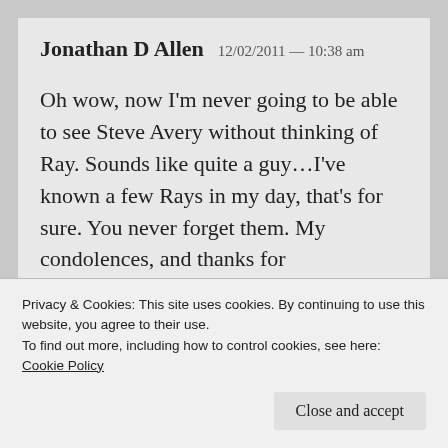Jonathan D Allen   12/02/2011 — 10:38 am
Oh wow, now I'm never going to be able to see Steve Avery without thinking of Ray. Sounds like quite a guy...I've known a few Rays in my day, that's for sure. You never forget them. My condolences, and thanks for
Privacy & Cookies: This site uses cookies. By continuing to use this website, you agree to their use.
To find out more, including how to control cookies, see here:
Cookie Policy
Close and accept